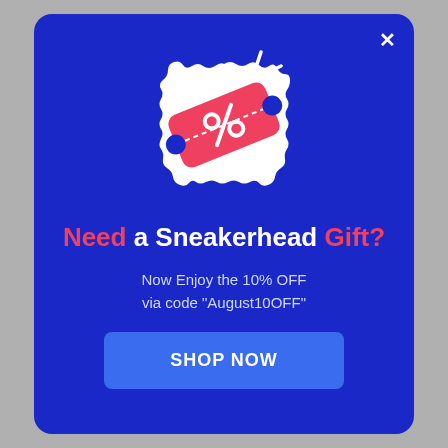[Figure (illustration): Discount coupon / ticket icon with percent symbol on a wavy badge, with sparkle lines, in red and white on blue background]
Need a Sneakerhead Gift?
Now Enjoy the 10% OFF via code "August10OFF"
SHOP NOW